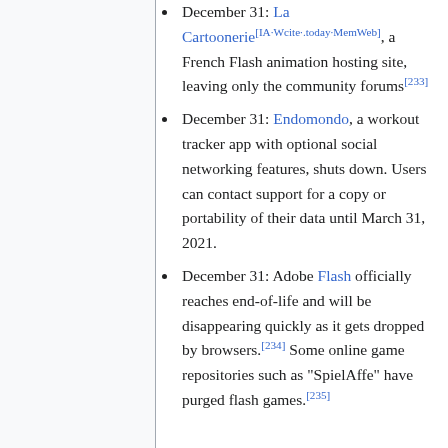December 31: La Cartoonerie[IA·Wcite·.today·MemWeb], a French Flash animation hosting site, leaving only the community forums[233]
December 31: Endomondo, a workout tracker app with optional social networking features, shuts down. Users can contact support for a copy or portability of their data until March 31, 2021.
December 31: Adobe Flash officially reaches end-of-life and will be disappearing quickly as it gets dropped by browsers.[234] Some online game repositories such as "SpielAffe" have purged flash games.[235]